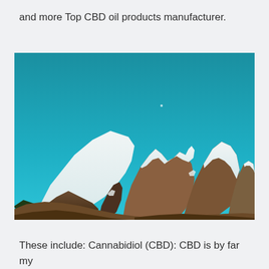and more Top CBD oil products manufacturer.
[Figure (photo): Landscape photograph of snow-capped mountain peaks with rocky brown terrain in the foreground and a clear teal/turquoise blue sky above.]
These include: Cannabidiol (CBD): CBD is by far my